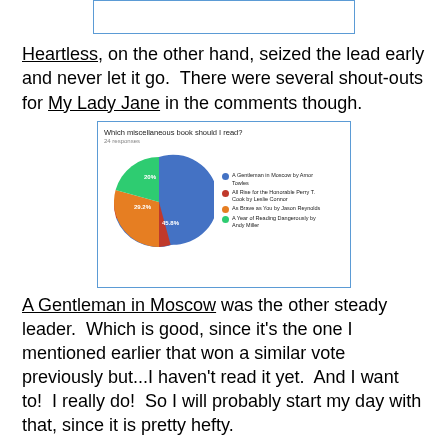[Figure (other): Partial image at top of page, cropped, showing a bordered rectangle with partial content visible]
Heartless, on the other hand, seized the lead early and never let it go.  There were several shout-outs for My Lady Jane in the comments though.
[Figure (pie-chart): Which miscellaneous book should I read?]
A Gentleman in Moscow was the other steady leader.  Which is good, since it's the one I mentioned earlier that won a similar vote previously but...I haven't read it yet.  And I want to!  I really do!  So I will probably start my day with that, since it is pretty hefty.
There are a few graphic novels hanging around the house